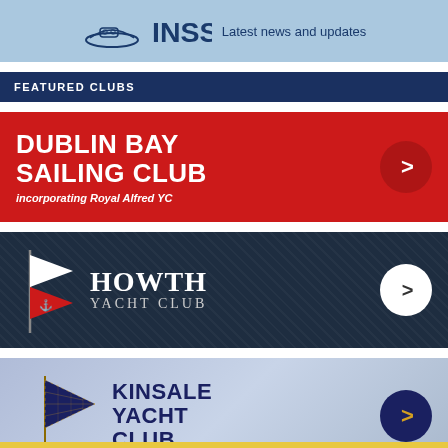[Figure (screenshot): INSS app header banner with boat icon and text 'Latest news and updates' on light blue background]
FEATURED CLUBS
[Figure (logo): Dublin Bay Sailing Club banner - red background with bold white text 'DUBLIN BAY SAILING CLUB incorporating Royal Alfred YC' and arrow button]
[Figure (logo): Howth Yacht Club banner - dark navy background with flag, white text 'HOWTH YACHT CLUB' and white arrow button]
[Figure (logo): Kinsale Yacht Club banner - light blue-grey gradient with pennant flag, navy text 'KINSALE YACHT CLUB' and navy arrow button with gold chevron]